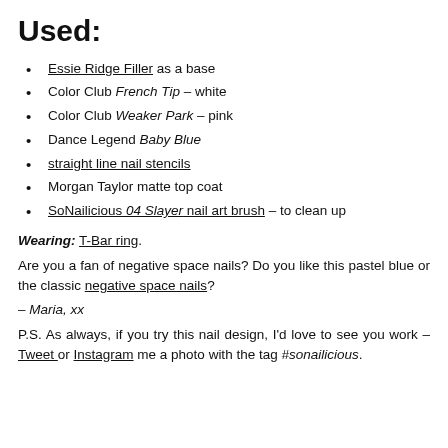Used:
Essie Ridge Filler as a base
Color Club French Tip – white
Color Club Weaker Park – pink
Dance Legend Baby Blue
straight line nail stencils
Morgan Taylor matte top coat
SoNailicious 04 Slayer nail art brush – to clean up
Wearing: T-Bar ring.
Are you a fan of negative space nails? Do you like this pastel blue or the classic negative space nails?
– Maria, xx
P.S. As always, if you try this nail design, I'd love to see you work – Tweet or Instagram me a photo with the tag #sonailicious.